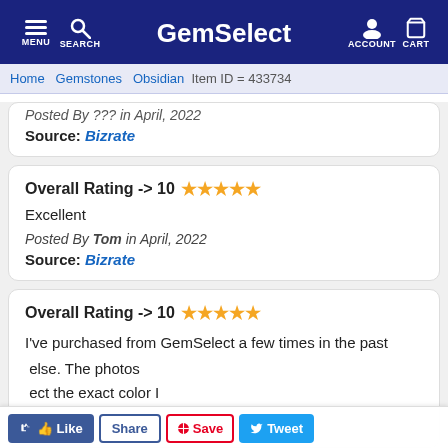GemSelect — MENU SEARCH ACCOUNT CART
Home > Gemstones > Obsidian > Item ID = 433734
Posted By ??? in April, 2022
Source: Bizrate
Overall Rating -> 10 ★★★★★
Excellent
Posted By Tom in April, 2022
Source: Bizrate
Overall Rating -> 10 ★★★★★
I've purchased from GemSelect a few times in the past ... else. The photos ... ect the exact color I